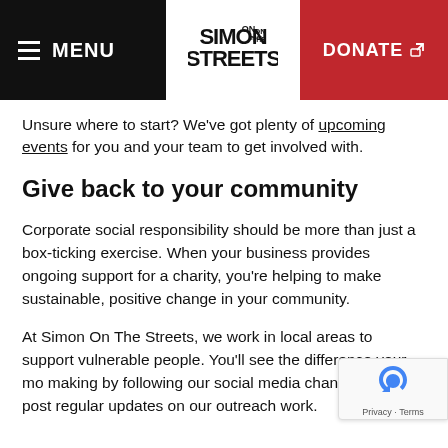MENU | SIMON ON THE STREETS | DONATE
Unsure where to start? We've got plenty of upcoming events for you and your team to get involved with.
Give back to your community
Corporate social responsibility should be more than just a box-ticking exercise. When your business provides ongoing support for a charity, you're helping to make sustainable, positive change in your community.
At Simon On The Streets, we work in local areas to support vulnerable people. You'll see the difference your mo making by following our social media channels, wh post regular updates on our outreach work.